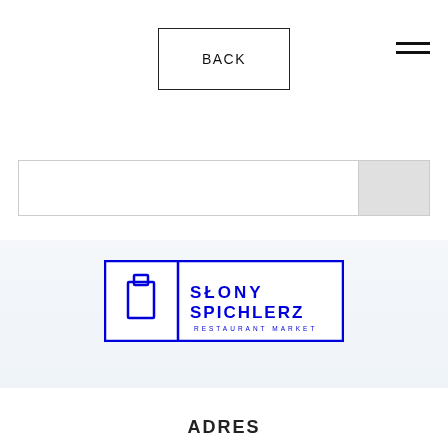BACK
[Figure (logo): Słony Spichlerz Restaurant Market logo — blue rectangle border divided into left section with a bottle/jar icon and right section with bold text SŁONY SPICHLERZ and smaller text RESTAURANT MARKET]
ADRES